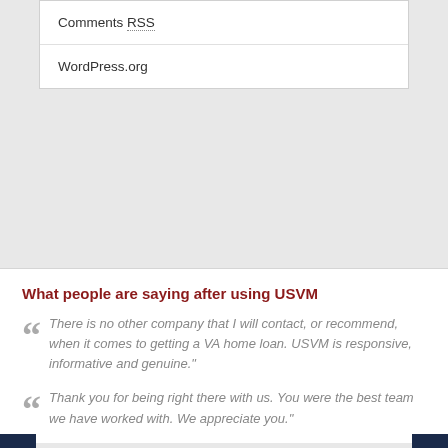Comments RSS
WordPress.org
What people are saying after using USVM
There is no other company that I will contact, or recommend, when it comes to getting a VA home loan. USVM is responsive, informative and genuine."
Thank you for being right there with us. You were the best team we have worked with. We appreciate you."